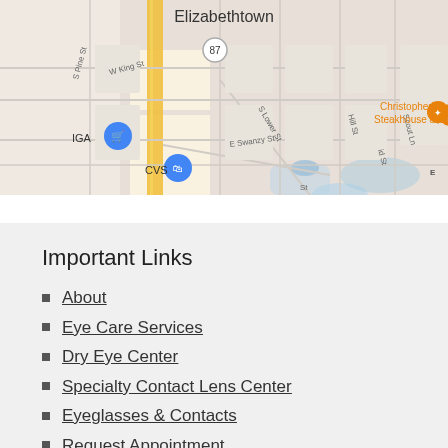[Figure (map): Google Maps screenshot showing Elizabethtown area with streets including W King St, E Swanzy St, S Pine St, S Lower St, Hill St, Scout Ln. Notable locations: Christopher's Steakhouse & Seafood (orange pin), IGA (blue pin with cart icon), CVS (blue pin with bag icon). A yellow road runs vertically through the center. Route 87 marker visible.]
Important Links
About
Eye Care Services
Dry Eye Center
Specialty Contact Lens Center
Eyeglasses & Contacts
Request Appointment